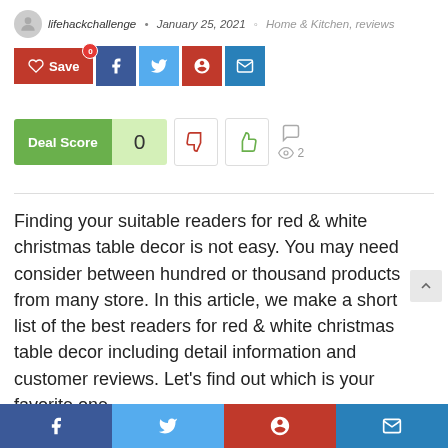lifehackchallenge • January 25, 2021 ◦ Home & Kitchen, reviews
[Figure (infographic): Social share buttons: Save (red), Facebook (dark blue), Twitter (light blue), Pinterest (red), Email (blue)]
[Figure (infographic): Deal Score widget showing 0, with thumbs down, thumbs up vote buttons, comment icon, and eye/view count of 2]
Finding your suitable readers for red & white christmas table decor is not easy. You may need consider between hundred or thousand products from many store. In this article, we make a short list of the best readers for red & white christmas table decor including detail information and customer reviews. Let's find out which is your favorite one.
[Figure (infographic): Bottom social share bar with Facebook, Twitter, Pinterest, and Email buttons]